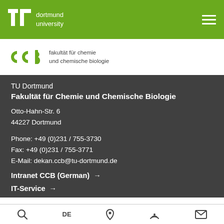tu dortmund university
[Figure (logo): CCB logo with text: fakultät für chemie und chemische biologie]
TU Dortmund
Fakultät für Chemie und Chemische Biologie
Otto-Hahn-Str. 6
44227 Dortmund
Phone: +49 (0)231 / 755-3730
Fax: +49 (0)231 / 755-3771
E-Mail: dekan.ccb@tu-dortmund.de
Intranet CCB (German) →
IT-Service →
🔍 DE 📍 ◎ ✉